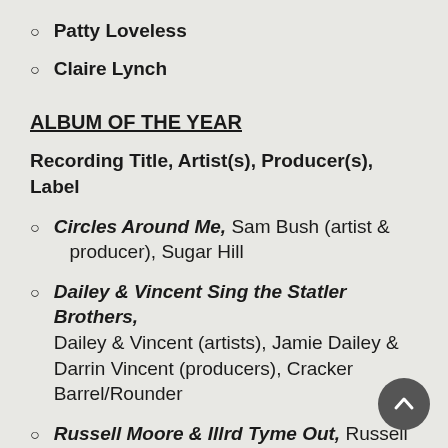Patty Loveless
Claire Lynch
ALBUM OF THE YEAR
Recording Title, Artist(s), Producer(s), Label
Circles Around Me, Sam Bush (artist & producer), Sugar Hill
Dailey & Vincent Sing the Statler Brothers, Dailey & Vincent (artists), Jamie Dailey & Darrin Vincent (producers), Cracker Barrel/Rounder
Russell Moore & Illrd Tyme Out, Russell Moore & Illrd Tyme Out (artists & producers), Rural Rhythm
Ring the Bell, The Gibson Brothers (artists